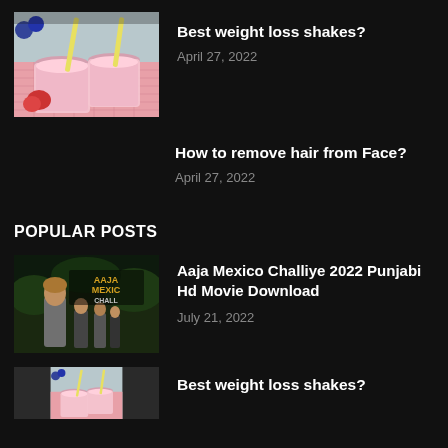[Figure (photo): Pink smoothie/shake in a mason jar with yellow straw, berries on a pink surface]
Best weight loss shakes?
April 27, 2022
How to remove hair from Face?
April 27, 2022
POPULAR POSTS
[Figure (photo): Movie poster for Aaja Mexico Challiye 2022 Punjabi film]
Aaja Mexico Challiye 2022 Punjabi Hd Movie Download
July 21, 2022
[Figure (photo): Pink smoothie/shake thumbnail partial]
Best weight loss shakes?